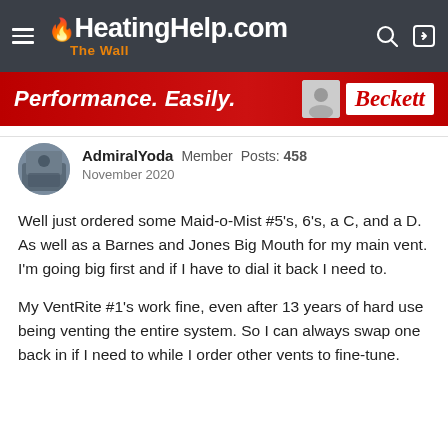HeatingHelp.com The Wall
[Figure (other): Beckett advertisement banner: 'Performance. Easily.' with Beckett logo]
AdmiralYoda  Member  Posts: 458
November 2020
Well just ordered some Maid-o-Mist #5's, 6's, a C, and a D. As well as a Barnes and Jones Big Mouth for my main vent. I'm going big first and if I have to dial it back I need to.
My VentRite #1's work fine, even after 13 years of hard use being venting the entire system. So I can always swap one back in if I need to while I order other vents to fine-tune.